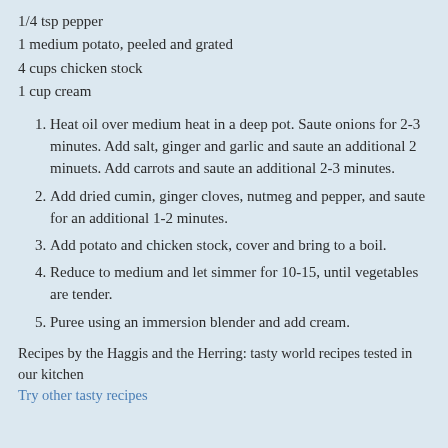1/4 tsp pepper
1 medium potato, peeled and grated
4 cups chicken stock
1 cup cream
1. Heat oil over medium heat in a deep pot. Saute onions for 2-3 minutes. Add salt, ginger and garlic and saute an additional 2 minuets. Add carrots and saute an additional 2-3 minutes.
2. Add dried cumin, ginger cloves, nutmeg and pepper, and saute for an additional 1-2 minutes.
3. Add potato and chicken stock, cover and bring to a boil.
4. Reduce to medium and let simmer for 10-15, until vegetables are tender.
5. Puree using an immersion blender and add cream.
Recipes by the Haggis and the Herring: tasty world recipes tested in our kitchen
Try other tasty recipes